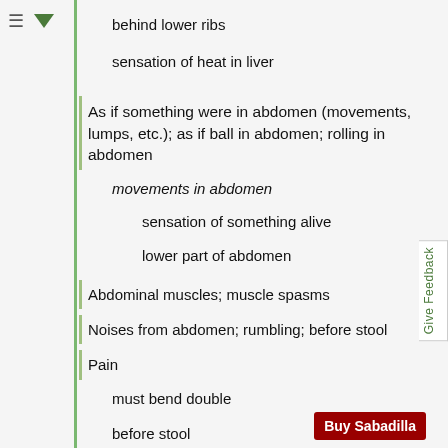behind lower ribs
sensation of heat in liver
As if something were in abdomen (movements, lumps, etc.); as if ball in abdomen; rolling in abdomen
movements in abdomen
sensation of something alive
lower part of abdomen
Abdominal muscles; muscle spasms
Noises from abdomen; rumbling; before stool
Pain
must bend double
before stool
region of hip; crest of hip
pressure